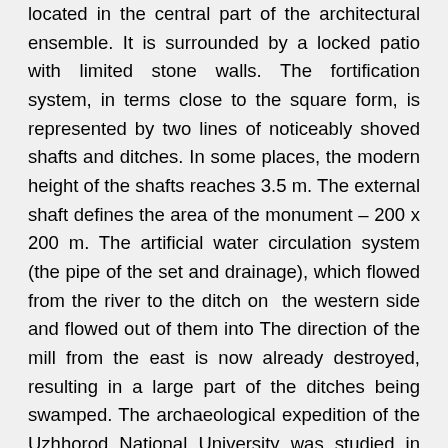located in the central part of the architectural ensemble. It is surrounded by a locked patio with limited stone walls. The fortification system, in terms close to the square form, is represented by two lines of noticeably shoved shafts and ditches. In some places, the modern height of the shafts reaches 3.5 m. The external shaft defines the area of the monument – 200 x 200 m. The artificial water circulation system (the pipe of the set and drainage), which flowed from the river to the ditch on the western side and flowed out of them into The direction of the mill from the east is now already destroyed, resulting in a large part of the ditches being swamped. The archaeological expedition of the Uzhhorod National University was studied in 2008 and 2017. In the first field season, in order to find out the stratigraphic situation and proceeding from the possible excavation of the area, the study began with the territory of the castle court. The excavation #I (22 x 4 m) cut it from the southern corner of the central building to the ditch. The power of the cultural layer, which consisted of layers of clay of different colors, from gray to black (in the basis), reached 2.8 m. The erection of stone walls in the XVI century. It